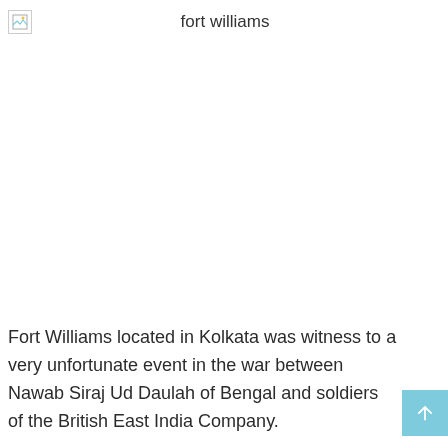fort williams
[Figure (photo): Broken/missing image placeholder for Fort Williams]
Fort Williams located in Kolkata was witness to a very unfortunate event in the war between Nawab Siraj Ud Daulah of Bengal and soldiers of the British East India Company.